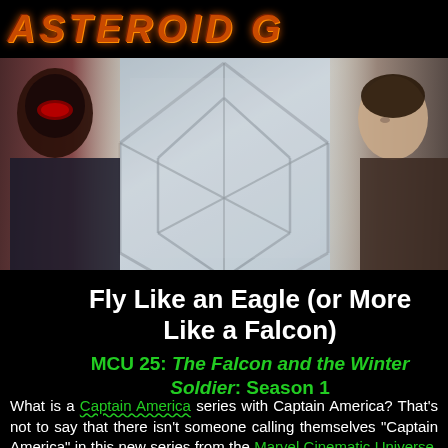ASTEROID G
[Figure (photo): Hero image showing Captain America shield hexagonal pattern with two figures visible on left and right edges, light blue-gray metallic background]
Fly Like an Eagle (or More Like a Falcon)
MCU 25: The Falcon and the Winter Soldier: Season 1
What is a Captain America series with Captain America? That's not to say that there isn't someone calling themselves "Captain America" in this new series from the Marvel Cinematic Universe, but Steve Rogers isn't in this TV show, and he was Captain America, while his chosen successor, Sam Wilson aka Falcon, doesn't feel like it's his place to take